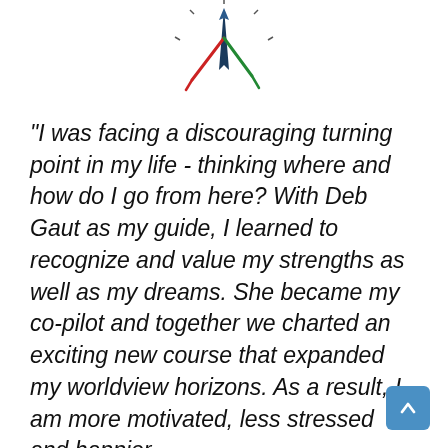[Figure (illustration): A compass rose illustration with a dark blue/teal central arrow pointing up, flanked by red and green accent lines, with short tick marks radiating outward.]
"I was facing a discouraging turning point in my life - thinking where and how do I go from here? With Deb Gaut as my guide, I learned to recognize and value my strengths as well as my dreams. She became my co-pilot and together we charted an exciting new course that expanded my worldview horizons. As a result, I am more motivated, less stressed and happier